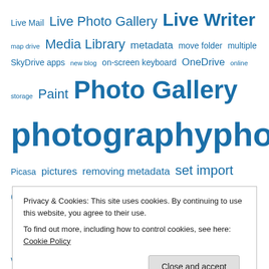Live Mail Live Photo Gallery Live Writer map drive Media Library metadata move folder multiple SkyDrive apps new blog on-screen keyboard OneDrive online storage Paint Photo Gallery photography photos Picasa pictures removing metadata set import options setup account share album share photos sharing sharing photos shortcut show links SkyDrive SkyDrive app SkyDrive desktop app SkyDrive folder taskbar themes updates update to Windows 8.1
Privacy & Cookies: This site uses cookies. By continuing to use this website, you agree to their use. To find out more, including how to control cookies, see here: Cookie Policy